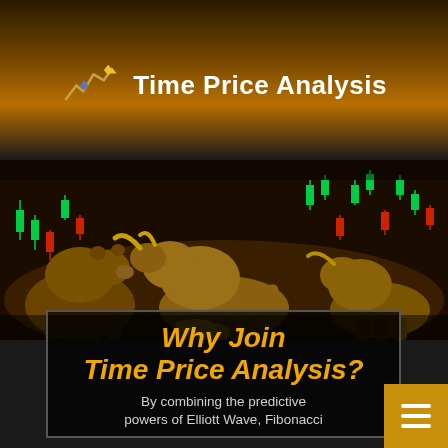[Figure (logo): Time Price Analysis logo with line chart icon and text on gradient gold/dark background]
[Figure (photo): Photo of golden bull and bear statues overlaid with a green and red candlestick stock chart]
Why Join Time Price Analysis?
By combining the predictive powers of Elliott Wave, Fibonacci